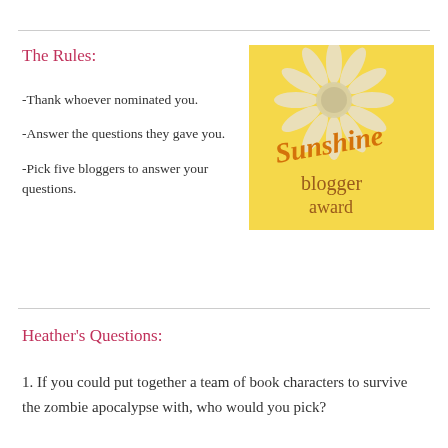The Rules:
-Thank whoever nominated you.
-Answer the questions they gave you.
-Pick five bloggers to answer your questions.
[Figure (illustration): Sunshine Blogger Award badge: yellow background with a white daisy flower and orange/gold cursive text reading 'Sunshine blogger award']
Heather's Questions:
1. If you could put together a team of book characters to survive the zombie apocalypse with, who would you pick?